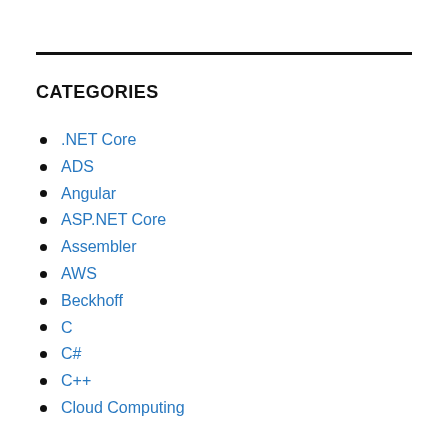CATEGORIES
.NET Core
ADS
Angular
ASP.NET Core
Assembler
AWS
Beckhoff
C
C#
C++
Cloud Computing